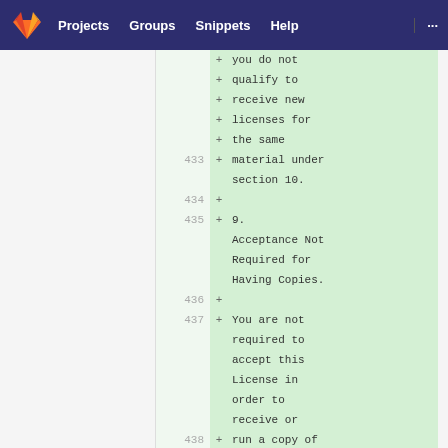GitLab nav: Projects | Groups | Snippets | Help
you do not qualify to receive new licenses for the same material under section 10.
9. Acceptance Not Required for Having Copies.
You are not required to accept this License in order to receive or run a copy of the Program